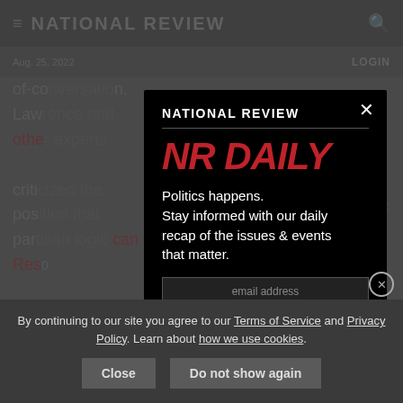NATIONAL REVIEW
Aug. 25, 2022
LOGIN
of-co...n, Law... othe... criti... pos... par... can Res...
[Figure (screenshot): National Review NR Daily newsletter signup modal popup over dimmed article background. Modal contains 'NATIONAL REVIEW' header, horizontal divider, 'NR DAILY' in large red bold italic text, body text 'Politics happens. Stay informed with our daily recap of the issues & events that matter.' followed by email input field and subscribe button. Close X button in top-right corner of modal.]
By continuing to our site you agree to our Terms of Service and Privacy Policy. Learn about how we use cookies.
Close
Do not show again